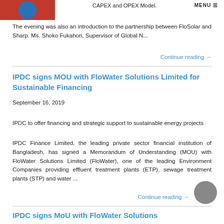[Figure (photo): Partial image of a banner with red background and blue circular logo]
CAPEX and OPEX Model.
The evening was also an introduction to the partnership between FloSolar and Sharp. Ms. Shoko Fukahori, Supervisor of Global N...
Continue reading →
IPDC signs MOU with FloWater Solutions Limited for Sustainable Financing
September 16, 2019
IPDC to offer financing and strategic support to sustainable energy projects
IPDC Finance Limited, the leading private sector financial institution of Bangladesh, has signed a Memorandum of Understanding (MOU) with FloWater Solutions Limited (FloWater), one of the leading Environment Companies providing effluent treatment plants (ETP), sewage treatment plants (STP) and water ...
Continue reading →
IPDC signs MoU with FloWater Solutions